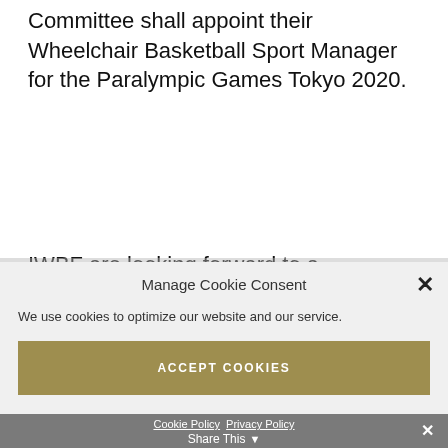Committee shall appoint their Wheelchair Basketball Sport Manager for the Paralympic Games Tokyo 2020.
IWBF are looking forward to a productive
Manage Cookie Consent
We use cookies to optimize our website and our service.
ACCEPT COOKIES
DENY
VIEW PREFERENCES
Cookie Policy  Privacy Policy  Share This  ×